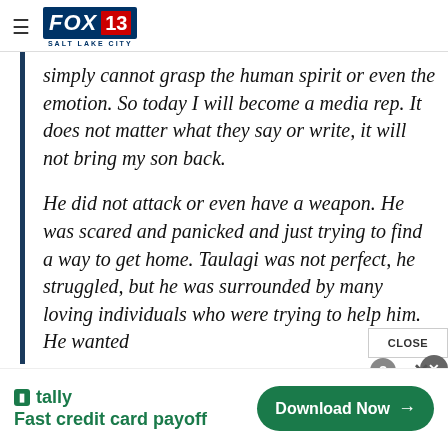FOX 13 Salt Lake City
simply cannot grasp the human spirit or even the emotion. So today I will become a media rep. It does not matter what they say or write, it will not bring my son back.
He did not attack or even have a weapon. He was scared and panicked and just trying to find a way to get home. Taulagi was not perfect, he struggled, but he was surrounded by many loving individuals who were trying to help him. He wanted
[Figure (other): Tally advertisement banner: 'Fast credit card payoff' with Download Now button]